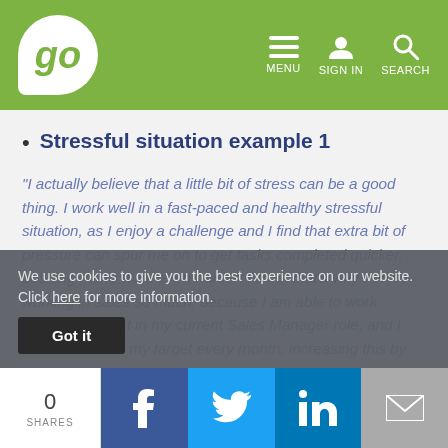[Figure (screenshot): Website header with green background, 'go' logo in speech bubble, and navigation icons for MENU, SIGN IN, SEARCH]
Stressful situation example 1
“I actually believe that a little bit of stress can be a good thing. I work well in a fast-paced and healthy stressful situation, as I enjoy a challenge and I find that extra bit of pressure can spur me on to get tasks completed quicker, pushing me to work even harder! I think that’s why I enjoy working in sales so much, because I am able to work towards a target in my current Sales Manager role, and I have exceeded my target every month, increasing this by around 10% each time.”
We use cookies to give you the best experience on our website. Click here for more information.
0 SHARES